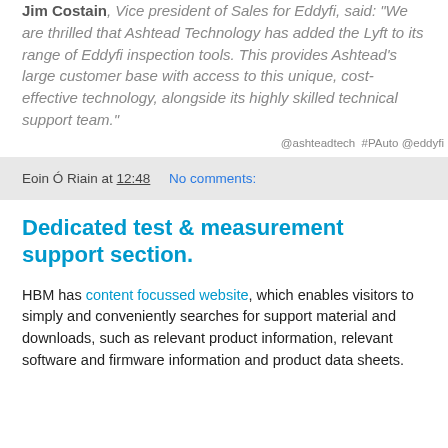Jim Costain, Vice president of Sales for Eddyfi, said: "We are thrilled that Ashtead Technology has added the Lyft to its range of Eddyfi inspection tools. This provides Ashtead's large customer base with access to this unique, cost-effective technology, alongside its highly skilled technical support team."
@ashteadtech #PAuto @eddyfi
Eoin Ó Riain at 12:48   No comments:
Dedicated test & measurement support section.
HBM has content focussed website, which enables visitors to simply and conveniently searches for support material and downloads, such as relevant product information, relevant software and firmware information and product data sheets.